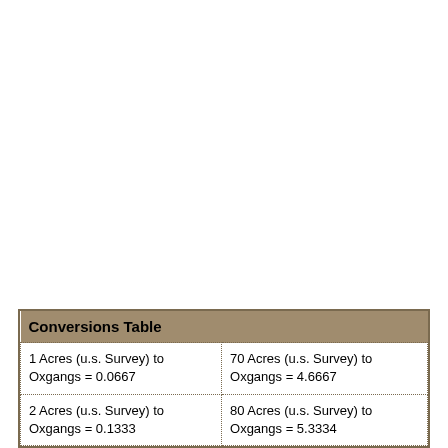| Conversions Table |  |
| --- | --- |
| 1 Acres (u.s. Survey) to Oxgangs = 0.0667 | 70 Acres (u.s. Survey) to Oxgangs = 4.6667 |
| 2 Acres (u.s. Survey) to Oxgangs = 0.1333 | 80 Acres (u.s. Survey) to Oxgangs = 5.3334 |